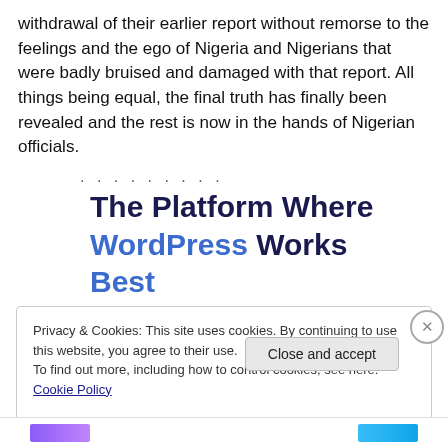withdrawal of their earlier report without remorse to the feelings and the ego of Nigeria and Nigerians that were badly bruised and damaged with that report. All things being equal, the final truth has finally been revealed and the rest is now in the hands of Nigerian officials.
. . . . . . . . .
The Platform Where WordPress Works Best
Privacy & Cookies: This site uses cookies. By continuing to use this website, you agree to their use.
To find out more, including how to control cookies, see here: Cookie Policy
Close and accept